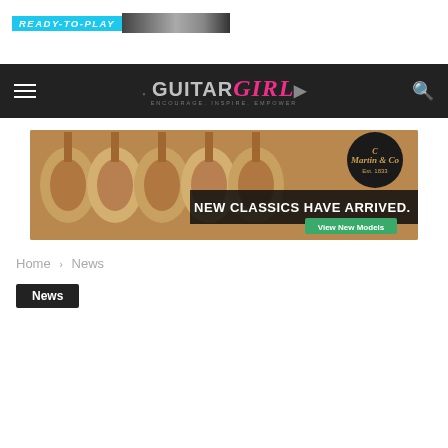[Figure (screenshot): Ready to Play banner with blue text and a dark photo background showing a guitar/musician]
Guitar Girl Magazine — navigation bar with hamburger menu, Guitar Girl logo, and search icon
[Figure (photo): C.F. Martin & Co advertisement banner showing multiple acoustic guitars with text 'NEW CLASSICS HAVE ARRIVED.' and a 'View New Models' green button]
Home › News
News